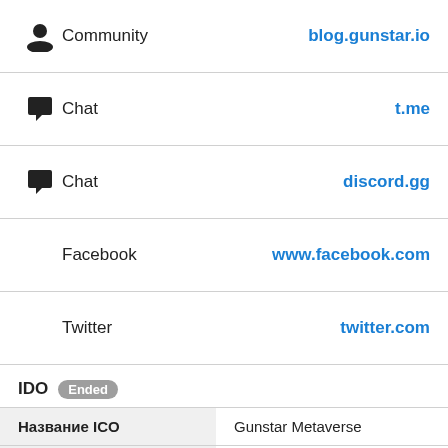Community — blog.gunstar.io
Chat — t.me
Chat — discord.gg
Facebook — www.facebook.com
Twitter — twitter.com
IDO Ended
|  |  |
| --- | --- |
| Название ICO | Gunstar Metaverse |
| Символ | GST |
| Дата начала | 24 ноября, 2021 |
| Дата окончания | 24 ноября, 2021 |